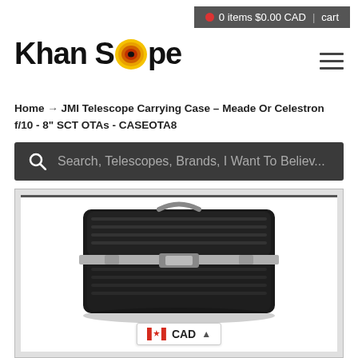0 items $0.00 CAD  |  cart
Khan Scope
Home → JMI Telescope Carrying Case – Meade Or Celestron f/10 - 8" SCT OTAs - CASEOTA8
Search, Telescopes, Brands, I Want To Believ...
[Figure (photo): Black hard-shell telescope carrying case (JMI brand) shown at an angle, with silver trim and clasps. A Canadian flag with CAD currency selector badge is shown at the bottom.]